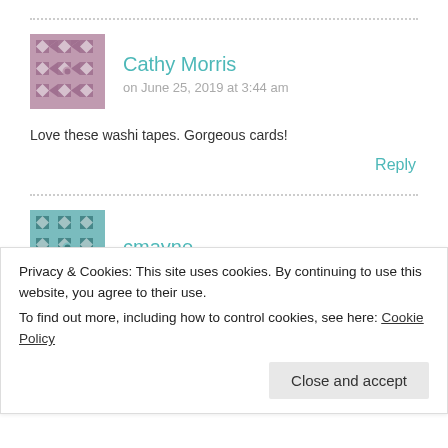[Figure (illustration): Dotted horizontal divider line]
[Figure (illustration): Avatar image with mauve/pink geometric quilt pattern for user Cathy Morris]
Cathy Morris
on June 25, 2019 at 3:44 am
Love these washi tapes. Gorgeous cards!
Reply
[Figure (illustration): Dotted horizontal divider line]
[Figure (illustration): Avatar image with teal/dark teal geometric quilt pattern for user cmayne]
cmayne
Privacy & Cookies: This site uses cookies. By continuing to use this website, you agree to their use.
To find out more, including how to control cookies, see here: Cookie Policy
Close and accept